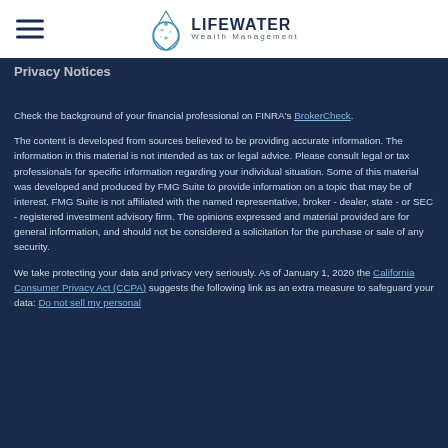Lifewater Wealth Management
Privacy Notices
Check the background of your financial professional on FINRA's BrokerCheck.
The content is developed from sources believed to be providing accurate information. The information in this material is not intended as tax or legal advice. Please consult legal or tax professionals for specific information regarding your individual situation. Some of this material was developed and produced by FMG Suite to provide information on a topic that may be of interest. FMG Suite is not affiliated with the named representative, broker - dealer, state - or SEC - registered investment advisory firm. The opinions expressed and material provided are for general information, and should not be considered a solicitation for the purchase or sale of any security.
We take protecting your data and privacy very seriously. As of January 1, 2020 the California Consumer Privacy Act (CCPA) suggests the following link as an extra measure to safeguard your data: Do not sell my personal